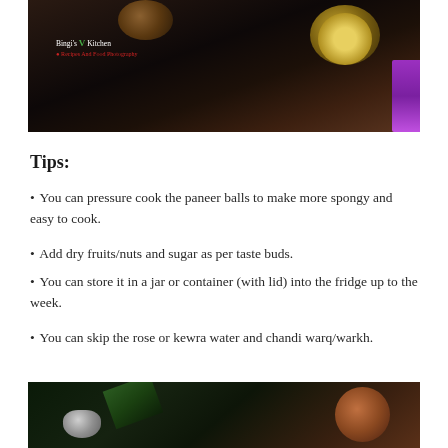[Figure (photo): Dark overhead food photography showing clay/terracotta bowls with a yellow saffron/cardamom dessert dish, possibly paneer kofta in creamy sauce, with a purple cloth visible on the right edge. A watermark logo for Bingi's Kitchen is visible.]
Tips:
You can pressure cook the paneer balls to make more spongy and easy to cook.
Add dry fruits/nuts and sugar as per taste buds.
You can store it in a jar or container (with lid) into the fridge up to the week.
You can skip the rose or kewra water and chandi warq/warkh.
[Figure (photo): Dark overhead food photography showing greenery, a silver decorative spoon/ladle, and a clay/terracotta bowl, dark moody styling.]